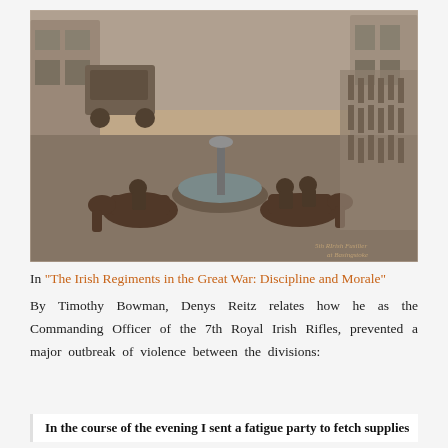[Figure (photo): Historical black and white photograph showing soldiers on horseback at a water fountain/trough in a town street, with a long column of troops marching in the background and horse-drawn carriages. A watermark reads '5th RIrish Fusilier at Basingstoke' in the lower right corner.]
In "The Irish Regiments in the Great War: Discipline and Morale" By Timothy Bowman, Denys Reitz relates how he as the Commanding Officer of the 7th Royal Irish Rifles, prevented a major outbreak of violence between the divisions:
In the course of the evening I sent a fatigue party to fetch supplies